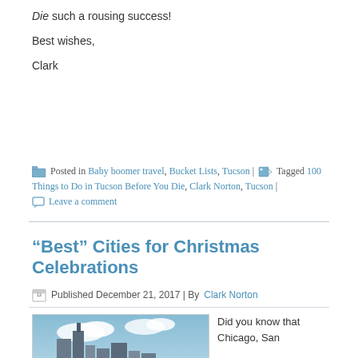Die such a rousing success!
Best wishes,
Clark
Posted in Baby boomer travel, Bucket Lists, Tucson | Tagged 100 Things to Do in Tucson Before You Die, Clark Norton, Tucson | Leave a comment
“Best” Cities for Christmas Celebrations
Published December 21, 2017 | By Clark Norton
[Figure (photo): Photo of a city skyline (Chicago) with tall buildings against a blue sky with clouds]
Did you know that Chicago, San